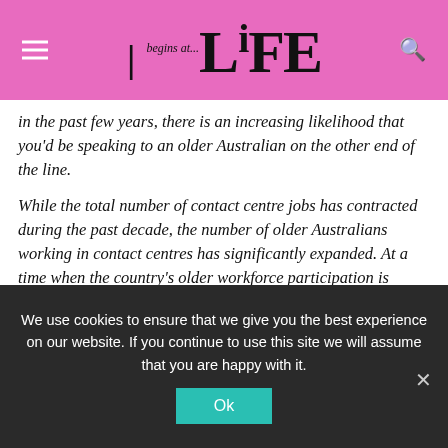begins at... LiFE
in the past few years, there is an increasing likelihood that you'd be speaking to an older Australian on the other end of the line.

While the total number of contact centre jobs has contracted during the past decade, the number of older Australians working in contact centres has significantly expanded. At a time when the country's older workforce participation is significantly lower than the UK, USA, Canada and even New Zealand, contact centres are turning to hire more experienced Australians.
We use cookies to ensure that we give you the best experience on our website. If you continue to use this site we will assume that you are happy with it.